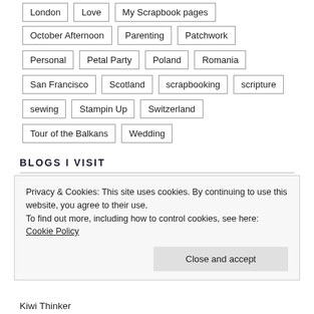London
Love
My Scrapbook pages
October Afternoon
Parenting
Patchwork
Personal
Petal Party
Poland
Romania
San Francisco
Scotland
scrapbooking
scripture
sewing
Stampin Up
Switzerland
Tour of the Balkans
Wedding
BLOGS I VISIT
Privacy & Cookies: This site uses cookies. By continuing to use this website, you agree to their use.
To find out more, including how to control cookies, see here: Cookie Policy
Close and accept
Kiwi Thinker